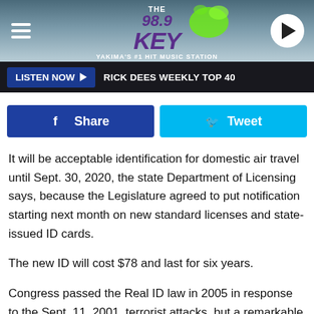[Figure (logo): 98.9 The Key radio station logo with green splash graphic on a blue-grey gradient header bar with hamburger menu and play button]
LISTEN NOW ▶   RICK DEES WEEKLY TOP 40
[Figure (infographic): Facebook Share button (blue) and Twitter Tweet button (cyan) side by side]
It will be acceptable identification for domestic air travel until Sept. 30, 2020, the state Department of Licensing says, because the Legislature agreed to put notification starting next month on new standard licenses and state-issued ID cards.
The new ID will cost $78 and last for six years.
Congress passed the Real ID law in 2005 in response to the Sept. 11, 2001, terrorist attacks, but a remarkable coalition of bi-partisan legislators fought making Washington comply, for